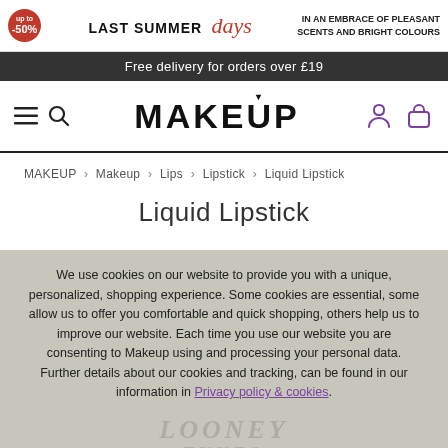[Figure (screenshot): E-commerce website screenshot showing a makeup retailer page with promotional banner, navigation bar, breadcrumb, page title, and a cookie consent overlay with ACCEPT button.]
up to -50%
LAST SUMMER days
IN AN EMBRACE OF PLEASANT SCENTS AND BRIGHT COLOURS
Free delivery for orders over £19
MAKEUP
MAKEUP > Makeup > Lips > Lipstick > Liquid Lipstick
Liquid Lipstick
We use cookies on our website to provide you with a unique, personalized, shopping experience. Some cookies are essential, some allow us to offer you comfortable and quick shopping, others help us to improve our website. Each time you use our website you are consenting to Makeup using and processing your personal data. Further details about our cookies and tracking, can be found in our information in Privacy policy & cookies.
ACCEPT